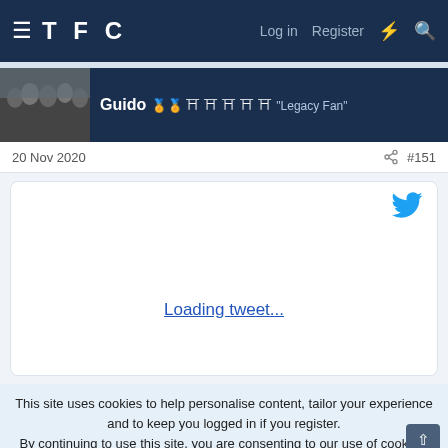TFC — Log in   Register
Guido 🏆🏆🏆🏆🏆 "Legacy Fan"
20 Nov 2020   #151
[Figure (screenshot): Embedded tweet placeholder with Twitter bird icon and 'Loading tweet...' link]
This site uses cookies to help personalise content, tailor your experience and to keep you logged in if you register.
By continuing to use this site, you are consenting to our use of cookies.